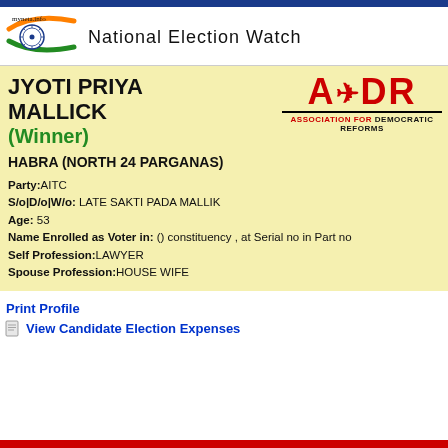[Figure (logo): myneta.info / National Election Watch logo with Indian flag colors and Ashoka chakra]
JYOTI PRIYA MALLICK (Winner)
[Figure (logo): ADR - Association for Democratic Reforms logo in red and black]
HABRA (NORTH 24 PARGANAS)
Party: AITC
S/o|D/o|W/o: LATE SAKTI PADA MALLIK
Age: 53
Name Enrolled as Voter in: () constituency , at Serial no in Part no
Self Profession: LAWYER
Spouse Profession: HOUSE WIFE
Print Profile
View Candidate Election Expenses